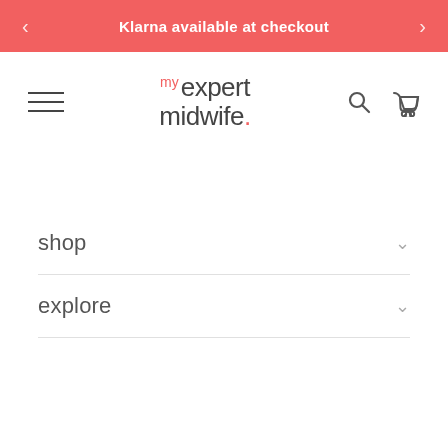Klarna available at checkout
[Figure (logo): My Expert Midwife logo with hamburger menu, search icon, and stroller icon]
shop
explore